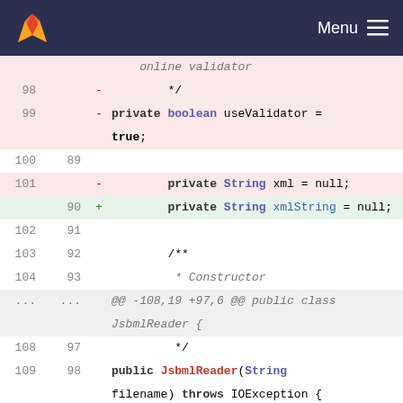Menu
[Figure (screenshot): Git diff view showing code changes in a Java file. Lines 98-115 shown with old/new line numbers, deleted lines in pink, added lines in green. Changes include renaming 'xml' field to 'xmlString' and removing 'useValidator' initialization from constructor.]